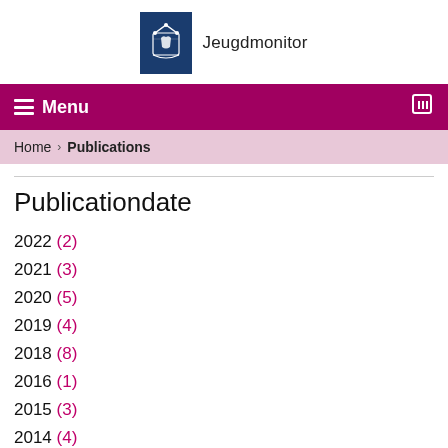[Figure (logo): Dutch government coat of arms logo badge (dark navy blue background with white crest) next to 'Jeugdmonitor' text]
☰ Menu
Home › Publications
Publicationdate
2022 (2)
2021 (3)
2020 (5)
2019 (4)
2018 (8)
2016 (1)
2015 (3)
2014 (4)
(-) 2013 (3)
(-) 2012 (1)